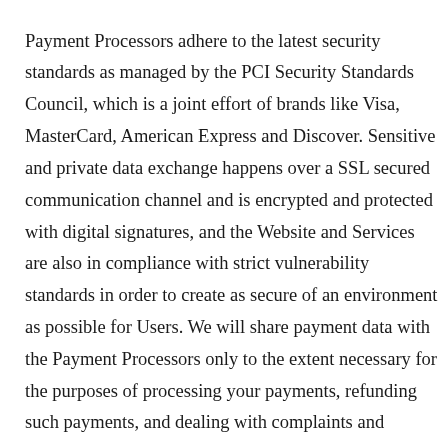processing your payment information securely. Payment Processors adhere to the latest security standards as managed by the PCI Security Standards Council, which is a joint effort of brands like Visa, MasterCard, American Express and Discover. Sensitive and private data exchange happens over a SSL secured communication channel and is encrypted and protected with digital signatures, and the Website and Services are also in compliance with strict vulnerability standards in order to create as secure of an environment as possible for Users. We will share payment data with the Payment Processors only to the extent necessary for the purposes of processing your payments, refunding such payments, and dealing with complaints and